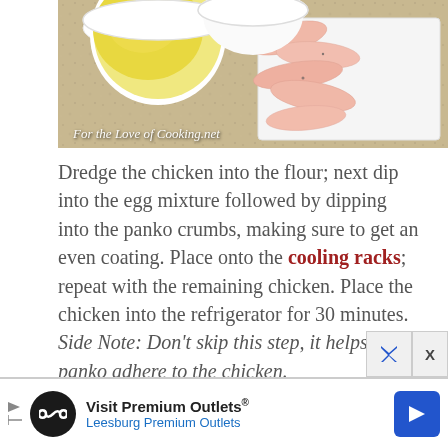[Figure (photo): Photo of cooking preparation ingredients: a bowl with yellow egg mixture, a bowl with white flour, and strips of raw chicken on a white cutting board, on a granite countertop. Watermark reads 'For the Love of Cooking.net']
Dredge the chicken into the flour; next dip into the egg mixture followed by dipping into the panko crumbs, making sure to get an even coating. Place onto the cooling racks; repeat with the remaining chicken. Place the chicken into the refrigerator for 30 minutes. Side Note: Don't skip this step, it helps the panko adhere to the chicken.
[Figure (other): Partial advertisement banner: Visit Premium Outlets® Leesburg Premium Outlets, with infinity logo circle and blue arrow button. Close button with X visible.]